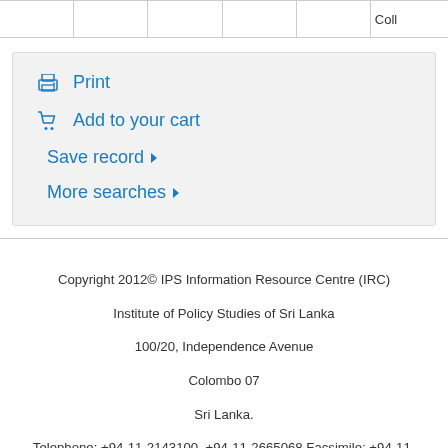|  |
Print
Add to your cart
Save record ▾
More searches ▾
Copyright 2012© IPS Information Resource Centre (IRC)
Institute of Policy Studies of Sri Lanka
100/20, Independence Avenue
Colombo 07
Sri Lanka.
Telephone: +94-11-2143100, +94-11-2665068 Facsimile: +94-11-2665065
Email:library@ips.lk
Designed & Maintain by IPS IRC
Last Updated: 12-May-2018